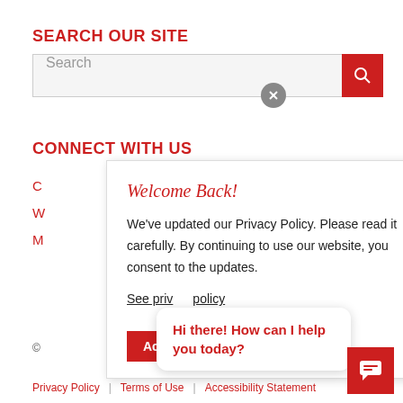SEARCH OUR SITE
[Figure (screenshot): Search bar with gray input field showing placeholder text 'Search' and a red search button with magnifying glass icon]
CONNECT WITH US
C
W
M
[Figure (screenshot): Modal popup titled 'Welcome Back!' with Privacy Policy update notice, 'See privacy policy' link, close (X) button, and red Accept button]
©
Hi there! How can I help you today?
Privacy Policy | Terms of Use | Accessibility Statement